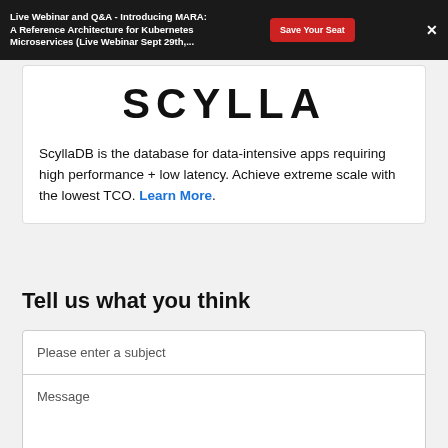[Figure (screenshot): Dark top banner: 'Live Webinar and Q&A - Introducing MARA: A Reference Architecture for Kubernetes Microservices (Live Webinar Sept 29th,...' with red 'Save Your Seat' button and white X close button]
[Figure (logo): SCYLLA wordmark logo in black block letters]
ScyllaDB is the database for data-intensive apps requiring high performance + low latency. Achieve extreme scale with the lowest TCO. Learn More.
Tell us what you think
Please enter a subject
Message